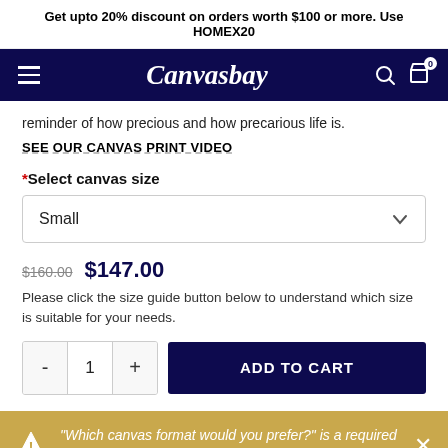Get upto 20% discount on orders worth $100 or more. Use HOMEX20
[Figure (logo): Canvasbay navigation bar with hamburger menu, logo, search and cart icons on dark navy background]
reminder of how precious and how precarious life is.
SEE OUR CANVAS PRINT VIDEO
*Select canvas size
Small
$160.00  $147.00
Please click the size guide button below to understand which size is suitable for your needs.
- 1 +  ADD TO CART
"Which canvas format would you prefer?" is a required field.